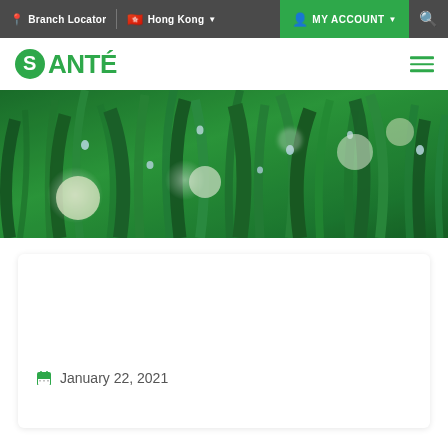Branch Locator | Hong Kong | MY ACCOUNT | Search
[Figure (logo): Santé brand logo in green with circular S icon]
[Figure (photo): Close-up photo of green grass blades with water droplets and bokeh light effects]
January 22, 2021